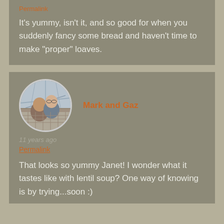Permalink
It’s yummy, isn’t it, and so good for when you suddenly fancy some bread and haven’t time to make “proper” loaves.
[Figure (photo): Circular avatar photo of two people (Mark and Gaz) smiling, taken in an industrial or dome-like setting]
Mark and Gaz
11 years ago
Permalink
That looks so yummy Janet! I wonder what it tastes like with lentil soup? One way of knowing is by trying...soon :)